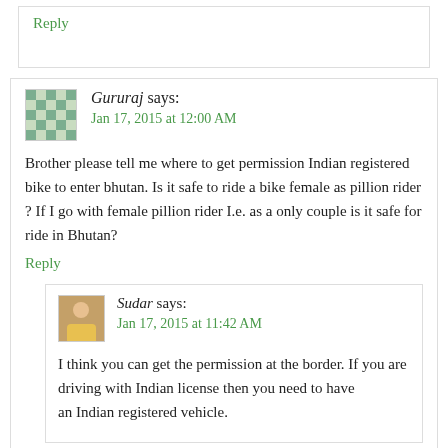Reply
Gururaj says:
Jan 17, 2015 at 12:00 AM
Brother please tell me where to get permission Indian registered bike to enter bhutan. Is it safe to ride a bike female as pillion rider ? If I go with female pillion rider I.e. as a only couple is it safe for ride in Bhutan?
Reply
Sudar says:
Jan 17, 2015 at 11:42 AM
I think you can get the permission at the border. If you are driving with Indian license then you need to have an Indian registered vehicle.